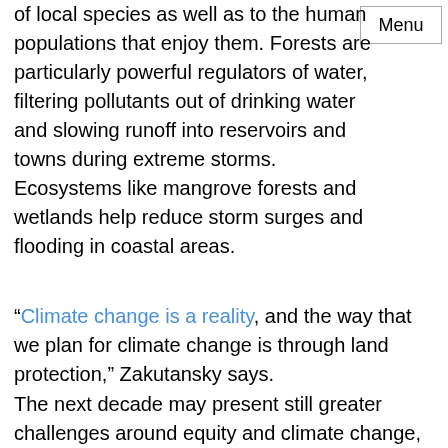of local species as well as to the human populations that enjoy them. Forests are particularly powerful regulators of water, filtering pollutants out of drinking water and slowing runoff into reservoirs and towns during extreme storms. Ecosystems like mangrove forests and wetlands help reduce storm surges and flooding in coastal areas.
“Climate change is a reality, and the way that we plan for climate change is through land protection,” Zakutansky says.
The next decade may present still greater challenges around equity and climate change, which means land conservation